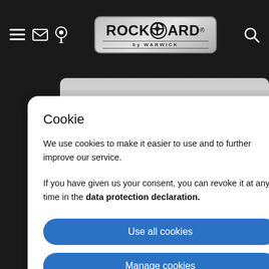[Figure (screenshot): RockBoard by Warwick navigation bar with hamburger menu, mail icon, pin icon, logo badge, and search icon on dark background]
Cookie
We use cookies to make it easier to use and to further improve our service.
If you have given us your consent, you can revoke it at any time in the data protection declaration.
Use all cookies
Manage cookies
Reject cookies